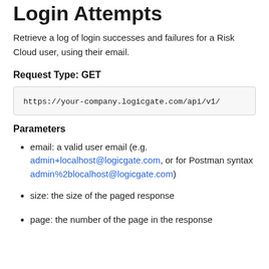Login Attempts
Retrieve a log of login successes and failures for a Risk Cloud user, using their email.
Request Type: GET
https://your-company.logicgate.com/api/v1/
Parameters
email: a valid user email (e.g. admin+localhost@logicgate.com, or for Postman syntax admin%2blocalhost@logicgate.com)
size: the size of the paged response
page: the number of the page in the response